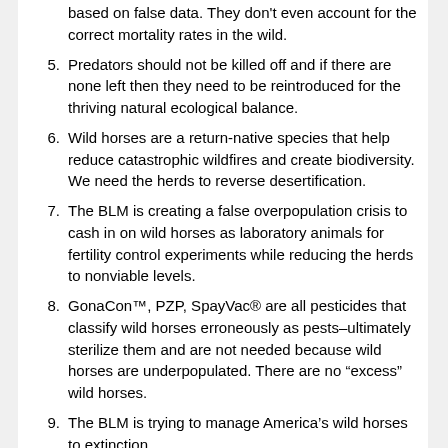based on false data. They don't even account for the correct mortality rates in the wild.
5. Predators should not be killed off and if there are none left then they need to be reintroduced for the thriving natural ecological balance.
6. Wild horses are a return-native species that help reduce catastrophic wildfires and create biodiversity. We need the herds to reverse desertification.
7. The BLM is creating a false overpopulation crisis to cash in on wild horses as laboratory animals for fertility control experiments while reducing the herds to nonviable levels.
8. GonaCon™, PZP, SpayVac® are all pesticides that classify wild horses erroneously as pests–ultimately sterilize them and are not needed because wild horses are underpopulated. There are no “excess” wild horses.
9. The BLM is trying to manage America’s wild horses to extinction.
10. Sign and share the petition to stop the roundups here: https://www.change.org/p/defund-and-stop-the-wild-horse-burro-roundups